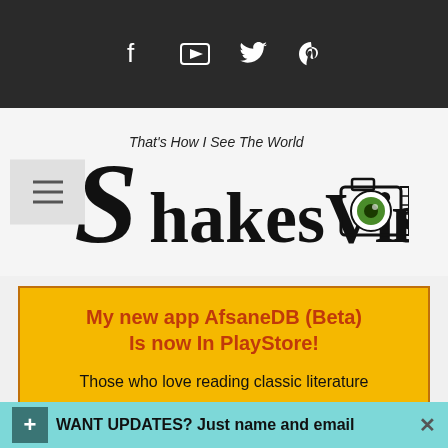Social icons bar (Facebook, YouTube, Twitter, Pinterest)
[Figure (logo): ShakesVision logo with camera graphic and tagline 'That's How I See The World']
My new app AfsaneDB (Beta) Is now In PlayStore!
Those who love reading classic literature can now enjoy literary masterpieces in this beautifully designed app.
Download from PlayStore
WANT UPDATES? Just name and email